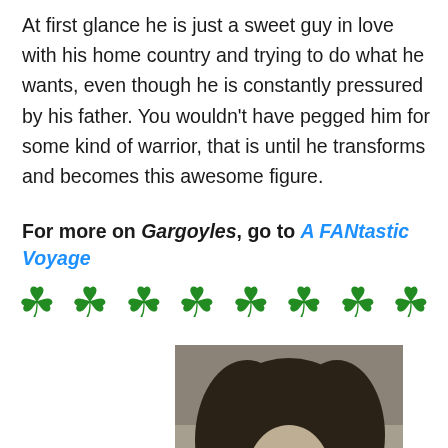At first glance he is just a sweet guy in love with his home country and trying to do what he wants, even though he is constantly pressured by his father. You wouldn't have pegged him for some kind of warrior, that is until he transforms and becomes this awesome figure.
For more on Gargoyles, go to A FANtastic Voyage
[Figure (illustration): A row of 8 green four-leaf clover shamrock emoji icons evenly spaced across the page]
[Figure (photo): Black and white portrait photo of a man with long wavy dark hair and a full beard, wearing a pinstripe suit jacket, looking slightly to the side]